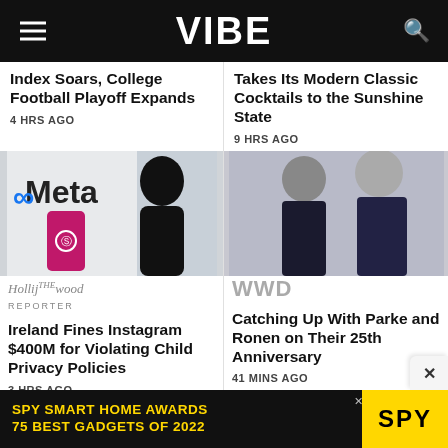VIBE
Index Soars, College Football Playoff Expands
4 HRS AGO
Takes Its Modern Classic Cocktails to the Sunshine State
9 HRS AGO
[Figure (photo): Person silhouetted holding a smartphone with Instagram logo, Meta logo visible in background]
The Hollywood Reporter
Ireland Fines Instagram $400M for Violating Child Privacy Policies
3 HRS AGO
[Figure (photo): Two men in dark shirts posing for a photo]
WWD
Catching Up With Parke and Ronen on Their 25th Anniversary
41 MINS AGO
[Figure (infographic): SPY Smart Home Awards - 75 Best Gadgets of 2022 advertisement banner]